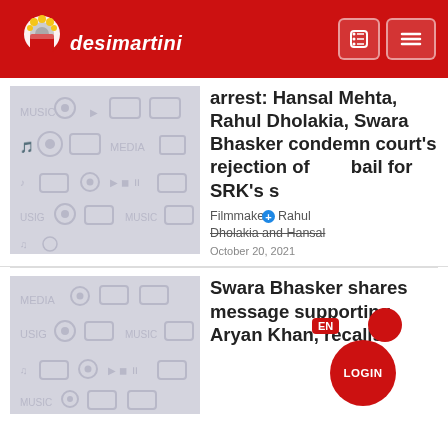desimartini
[Figure (screenshot): Thumbnail placeholder image with music/media icons pattern in light gray]
arrest: Hansal Mehta, Rahul Dholakia, Swara Bhasker condemn court's rejection of bail for SRK's son
Filmmakers Rahul Dholakia and Hansal
October 20, 2021
[Figure (screenshot): Thumbnail placeholder image with media/music icons pattern in light gray]
Swara Bhasker shares message supporting Aryan Khan, recalls